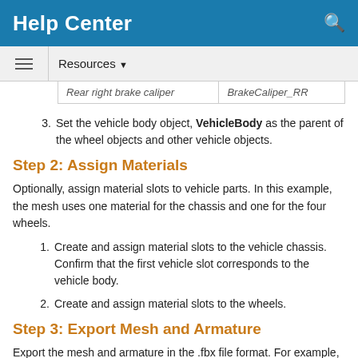Help Center
| Rear right brake caliper | BrakeCaliper_RR |
Set the vehicle body object, VehicleBody as the parent of the wheel objects and other vehicle objects.
Step 2: Assign Materials
Optionally, assign material slots to vehicle parts. In this example, the mesh uses one material for the chassis and one for the four wheels.
Create and assign material slots to the vehicle chassis. Confirm that the first vehicle slot corresponds to the vehicle body.
Create and assign material slots to the wheels.
Step 3: Export Mesh and Armature
Export the mesh and armature in the .fbx file format. For example, in Blender:
In the Object Type menu, select Armature and Mesh...